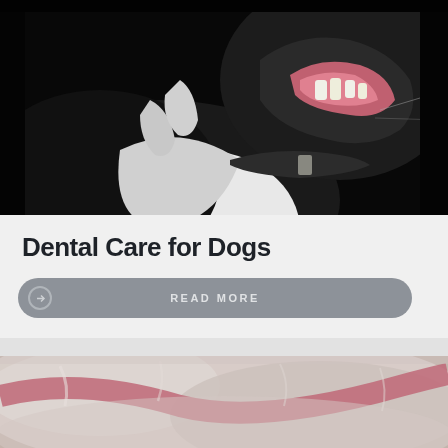[Figure (photo): Close-up photo of a black and white dog with mouth open, showing teeth, against a dark background. The dog is wearing a collar.]
Dental Care for Dogs
READ MORE
[Figure (photo): Close-up photo of a dog's fur/paw with what appears to be a pink/red object partially visible, on light background.]